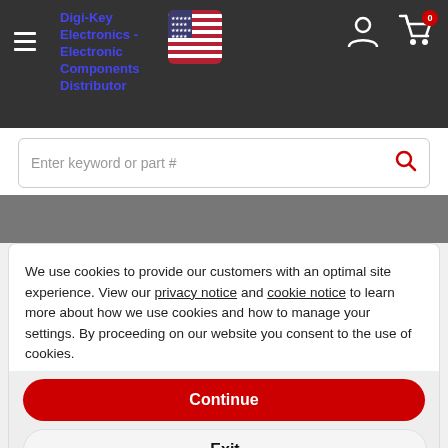[Figure (screenshot): Navigation bar with hamburger menu, Digi-Key Electronics logo link, US flag icon, person icon, and cart icon with 0 badge]
[Figure (screenshot): Search bar with placeholder text 'Enter keyword or part #' and red search icon]
We use cookies to provide our customers with an optimal site experience. View our privacy notice and cookie notice to learn more about how we use cookies and how to manage your settings. By proceeding on our website you consent to the use of cookies.
Continue
Exit
Privacy Notice